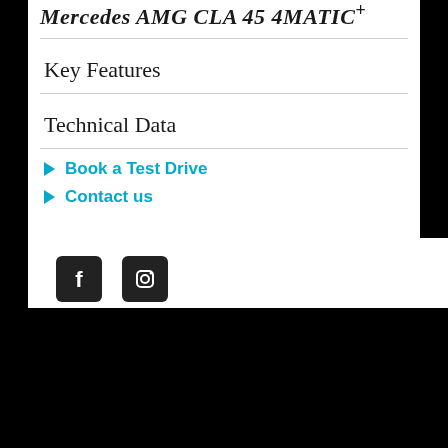Mercedes AMG CLA 45 4MATIC+
Key Features
Technical Data
Book a Test Drive
Contact us
[Figure (logo): Facebook and Instagram social media icons in dark/black square buttons]